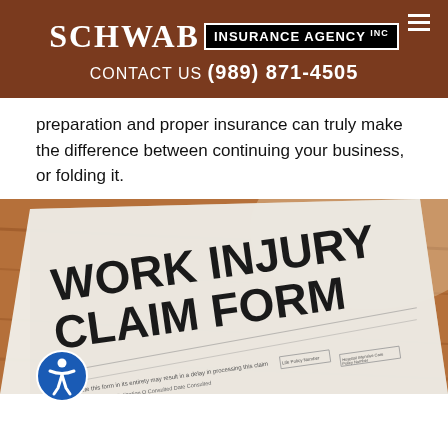Schwab Insurance Agency Inc — CONTACT US (989) 871-4505
preparation and proper insurance can truly make the difference between continuing your business, or folding it.
[Figure (photo): Photo of a Work Injury Claim Form document on a wooden desk, showing bold text 'WORK INJURY CLAIM FORM' with form fields visible below.]
Workers compensation laws were created to ensure that employees who are injured on the job are provided with fixed